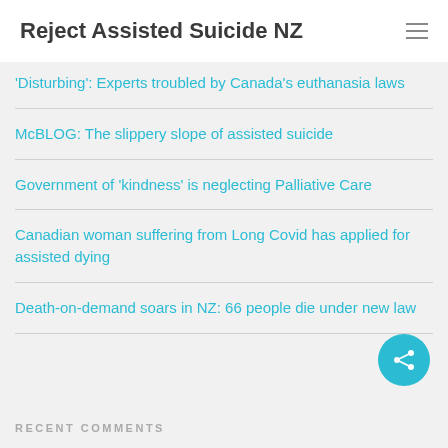Reject Assisted Suicide NZ
'Disturbing': Experts troubled by Canada's euthanasia laws
McBLOG: The slippery slope of assisted suicide
Government of 'kindness' is neglecting Palliative Care
Canadian woman suffering from Long Covid has applied for assisted dying
Death-on-demand soars in NZ: 66 people die under new law
RECENT COMMENTS